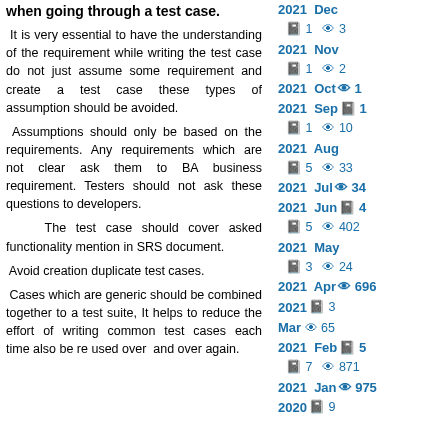when going through a test case.
It is very essential to have the understanding of the requirement while writing the test case do not just assume some requirement and create a test case these types of assumption should be avoided.
Assumptions should only be based on the requirements. Any requirements which are not clear ask them to BA business requirement. Testers should not ask these questions to developers.
The test case should cover asked functionality mention in SRS document.
Avoid creation duplicate test cases.
Cases which are generic should be combined together to a test suite, It helps to reduce the effort of writing common test cases each time also be re used over and over again.
2021 Dec
📋 1  👁 3
2021 Nov
📋 1  👁 2
2021 Oct 👁 1
2021 Sep📋 1
📋 1  👁 10
2021 Aug
📋 5  👁 33
2021 Jul 👁 34
2021 Jun 📋 4
📋 5  👁 402
2021 May
📋 3  👁 24
2021 Apr 👁 696
2021 Mar 📋 3 👁 65
2021 Feb📋 5
📋 7  👁 871
2021 Jan 👁 975
2020 📋 9